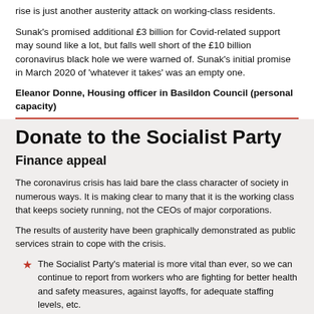rise is just another austerity attack on working-class residents.
Sunak's promised additional £3 billion for Covid-related support may sound like a lot, but falls well short of the £10 billion coronavirus black hole we were warned of. Sunak's initial promise in March 2020 of 'whatever it takes' was an empty one.
Eleanor Donne, Housing officer in Basildon Council (personal capacity)
Donate to the Socialist Party
Finance appeal
The coronavirus crisis has laid bare the class character of society in numerous ways. It is making clear to many that it is the working class that keeps society running, not the CEOs of major corporations.
The results of austerity have been graphically demonstrated as public services strain to cope with the crisis.
The Socialist Party's material is more vital than ever, so we can continue to report from workers who are fighting for better health and safety measures, against layoffs, for adequate staffing levels, etc.